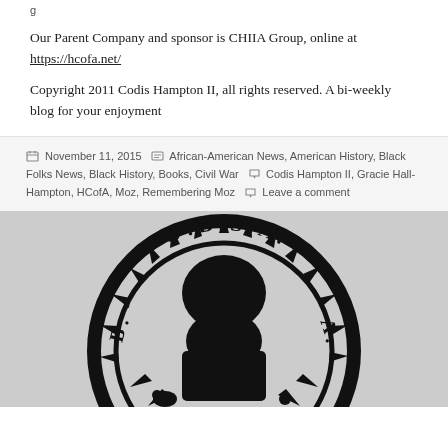Our Parent Company and sponsor is CHIIA Group, online at https://hcofa.net/
Copyright 2011 Codis Hampton II, all rights reserved. A bi-weekly blog for your enjoyment
November 11, 2015  African-American News, American History, Black Folks News, Black History, Books, Civil War  Codis Hampton II, Gracie Hall-Hampton, HCofA, Moz, Remembering Moz  Leave a comment
[Figure (logo): B.O.B.S.A. circular logo with silhouette of a person with afro hair, black and white]